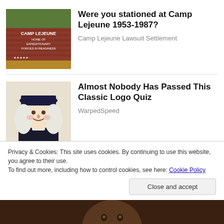[Figure (photo): Camp Lejeune sign photo showing brick sign reading CAMP LEJEUNE HOME OF EXPEDITIONARY FORCES IN READINESS with trees in background]
Were you stationed at Camp Lejeune 1953-1987?
Camp Lejeune Lawsuit Settlement
[Figure (illustration): Illustrated portrait of a colonial-era figure wearing a dark hat and white powdered wig]
Almost Nobody Has Passed This Classic Logo Quiz
WarpedSpeed
Privacy & Cookies: This site uses cookies. By continuing to use this website, you agree to their use.
To find out more, including how to control cookies, see here: Cookie Policy
Close and accept